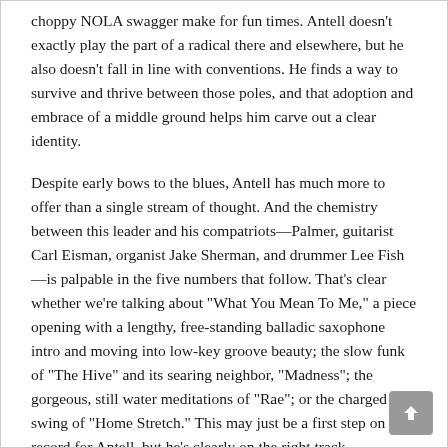choppy NOLA swagger make for fun times. Antell doesn't exactly play the part of a radical there and elsewhere, but he also doesn't fall in line with conventions. He finds a way to survive and thrive between those poles, and that adoption and embrace of a middle ground helps him carve out a clear identity.
Despite early bows to the blues, Antell has much more to offer than a single stream of thought. And the chemistry between this leader and his compatriots—Palmer, guitarist Carl Eisman, organist Jake Sherman, and drummer Lee Fish—is palpable in the five numbers that follow. That's clear whether we're talking about "What You Mean To Me," a piece opening with a lengthy, free-standing balladic saxophone intro and moving into low-key groove beauty; the slow funk of "The Hive" and its searing neighbor, "Madness"; the gorgeous, still water meditations of "Rae"; or the charged swing of "Home Stretch." This may just be a first step on record for Antell, but he's clearly on the right track.
By DAN BILAWSKY